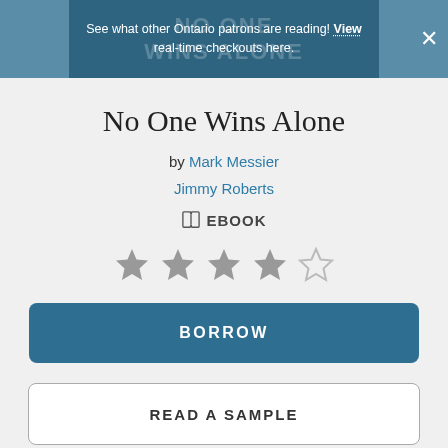See what other Ontario patrons are reading! View real-time checkouts here.
No One Wins Alone
by Mark Messier
Jimmy Roberts
EBOOK
[Figure (other): 4 out of 5 stars rating]
BORROW
READ A SAMPLE